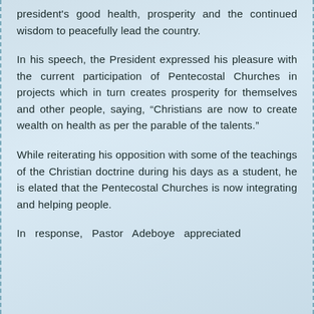president's good health, prosperity and the continued wisdom to peacefully lead the country.
In his speech, the President expressed his pleasure with the current participation of Pentecostal Churches in projects which in turn creates prosperity for themselves and other people, saying, “Christians are now to create wealth on health as per the parable of the talents.”
While reiterating his opposition with some of the teachings of the Christian doctrine during his days as a student, he is elated that the Pentecostal Churches is now integrating and helping people.
In response, Pastor Adeboye appreciated